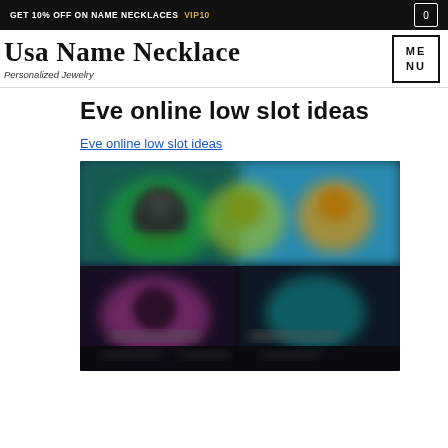GET 10% OFF ON NAME NECKLACES  VIP10
[Figure (logo): Usa Name Necklace - Personalized Jewelry logo in script font with navigation menu button]
Eve online low slot ideas
Eve online low slot ideas
[Figure (screenshot): Blurred screenshot of a game interface showing colorful characters and menu items, likely from Eve Online or a similar online game]